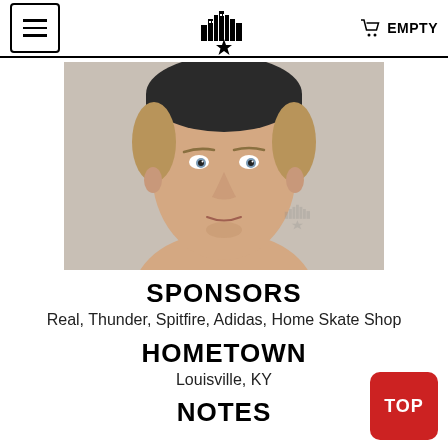EMPTY
[Figure (photo): Headshot photo of a young man with light brown hair and blue eyes against a light background, with a watermark logo in the lower right corner]
SPONSORS
Real, Thunder, Spitfire, Adidas, Home Skate Shop
HOMETOWN
Louisville, KY
NOTES